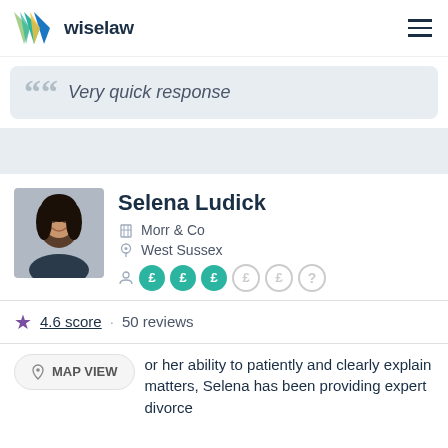wiselaw
Very quick response
Selena Ludick
Morr & Co
West Sussex
4.6 score · 50 reviews
or her ability to patiently and clearly explain matters, Selena has been providing expert divorce